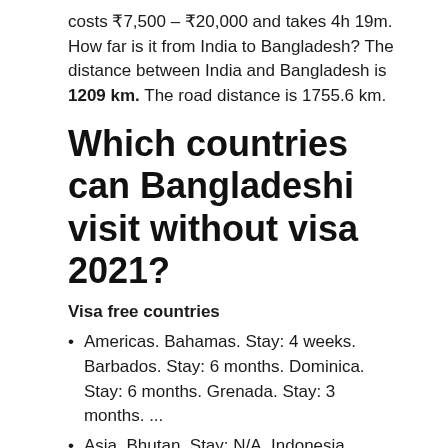costs ₹7,500 – ₹20,000 and takes 4h 19m. How far is it from India to Bangladesh? The distance between India and Bangladesh is 1209 km. The road distance is 1755.6 km.
Which countries can Bangladeshi visit without visa 2021?
Visa free countries
Americas. Bahamas. Stay: 4 weeks. Barbados. Stay: 6 months. Dominica. Stay: 6 months. Grenada. Stay: 3 months. ...
Asia. Bhutan. Stay: N/A. Indonesia. Pakistan. Stay: N/A.